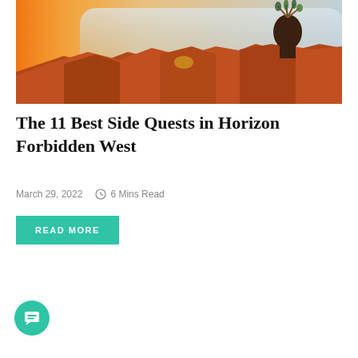[Figure (photo): Horizon Forbidden West game screenshot showing a character standing on red rock formations with mist and orange sky in the background]
The 11 Best Side Quests in Horizon Forbidden West
March 29, 2022   6 Mins Read
READ MORE
[Figure (illustration): Teal circular chat bubble icon in the bottom left corner]